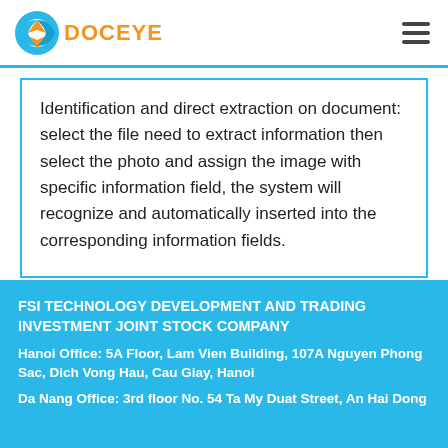[Figure (logo): DocEye logo with blue swoosh and orange arrow icon, orange text DOCEYE]
Identification and direct extraction on document: select the file need to extract information then select the photo and assign the image with specific information field, the system will recognize and automatically inserted into the corresponding information fields.
FSI TECHNOLOGY DEVELOPMENT AND TRADING INVESTMENT JOINT STOCK COMPANY
Hanoi Office: 5A Floor, Lam Vien Building, 107A Nguyen Phong Sac, Dich Vong Hau, Cau Giay, Hanoi
Da Nang Office: 3rd floor No. 54 Ta My Duat Street, An Hai Dong